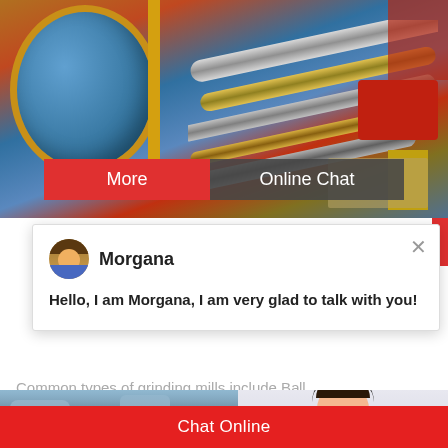[Figure (photo): Aerial/overhead view of industrial machinery and pipes in a mining or processing facility, with colorful equipment including blue cylindrical drums, yellow railings, and red machinery]
More
Online Chat
[Figure (screenshot): Live chat popup widget showing avatar of agent named Morgana with message: Hello, I am Morgana, I am very glad to talk with you!]
Hello, I am Morgana, I am very glad to talk with you!
Common types of grinding mills include Ball Mills. This includes all rotating mills with he... loads. This article focuses on ball and rod mi...
[Figure (photo): Photo of rocky terrain or ore pile under blue sky]
[Figure (photo): Customer support agent — woman wearing headset with notification badge showing number 1, and Need questions & suggestion panel with Chat Now button]
Need questions & suggestion?
Chat Now
Chat Online